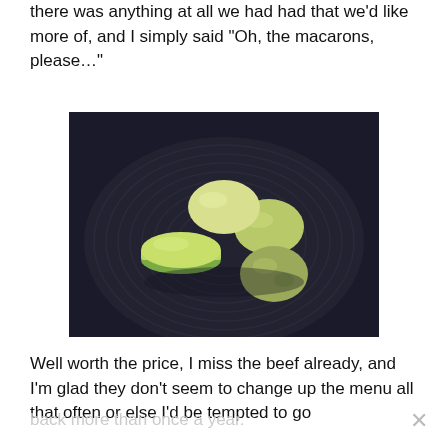there was anything at all we had had that we'd like more of, and I simply said “Oh, the macarons, please…”
[Figure (photo): Four green/yellow macarons and round pastries arranged on a dark circular ridged plate, photographed from above at an angle.]
Well worth the price, I miss the beef already, and I’m glad they don’t seem to change up the menu all that often or else I’d be tempted to go
back more than once a year.